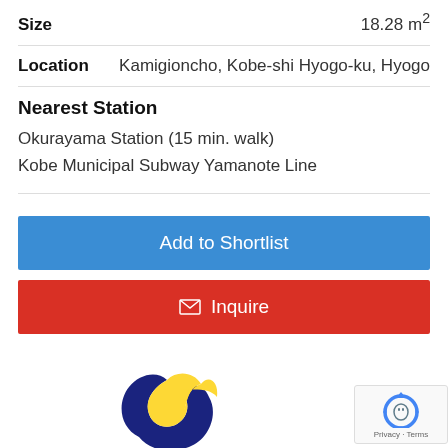Size   18.28 m²
Location   Kamigioncho, Kobe-shi Hyogo-ku, Hyogo
Nearest Station
Okurayama Station (15 min. walk)
Kobe Municipal Subway Yamanote Line
Add to Shortlist
✉ Inquire
[Figure (logo): Sumaino Seika logo — blue and yellow S-shaped swoosh on white background]
Sumaino Seika Osaka Office